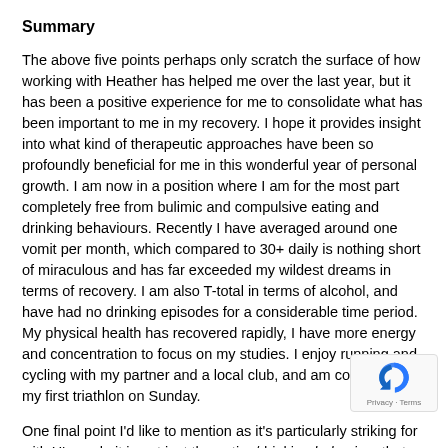Summary
The above five points perhaps only scratch the surface of how working with Heather has helped me over the last year, but it has been a positive experience for me to consolidate what has been important to me in my recovery. I hope it provides insight into what kind of therapeutic approaches have been so profoundly beneficial for me in this wonderful year of personal growth. I am now in a position where I am for the most part completely free from bulimic and compulsive eating and drinking behaviours. Recently I have averaged around one vomit per month, which compared to 30+ daily is nothing short of miraculous and has far exceeded my wildest dreams in terms of recovery. I am also T-total in terms of alcohol, and have had no drinking episodes for a considerable time period. My physical health has recovered rapidly, I have more energy and concentration to focus on my studies. I enjoy running and cycling with my partner and a local club, and am competing in my first triathlon on Sunday.
One final point I'd like to mention as it's particularly striking for with H's work, it is not just the eating/drinking behaviour that abolished but all the compulsive thought patterns and emotions that